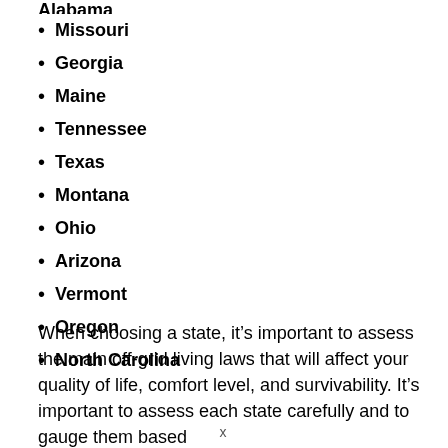Missouri
Georgia
Maine
Tennessee
Texas
Montana
Ohio
Arizona
Vermont
Oregon
North Carolina
When choosing a state, it’s important to assess the main off-grid living laws that will affect your quality of life, comfort level, and survivability. It’s important to assess each state carefully and to gauge them based